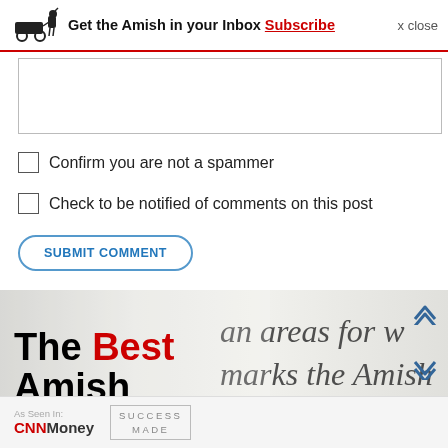Get the Amish in your Inbox Subscribe  x close
Confirm you are not a spammer
Check to be notified of comments on this post
SUBMIT COMMENT
[Figure (illustration): The Best Amish Books advertisement banner showing text overlay on a blurred book page image with italic serif text reading 'urban areas for wo...', 'marks the Amish...', 'tions, and with m...', 'dozens of li...']
As Seen In: CNNMoney  SUCCESS MADE